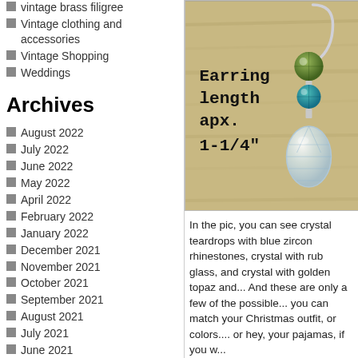vintage brass filigree
Vintage clothing and accessories
Vintage Shopping
Weddings
Archives
August 2022
July 2022
June 2022
May 2022
April 2022
February 2022
January 2022
December 2021
November 2021
October 2021
September 2021
August 2021
July 2021
June 2021
May 2021
April 2021
March 2021
February 2021
January 2021
December 2020
[Figure (photo): Photo of crystal teardrop earrings on a wooden background with text overlay reading 'Earring length apx. 1-1/4"'. Earrings feature green and blue/teal rhinestones with a large clear crystal teardrop pendant on silver hooks.]
In the pic, you can see crystal teardrops with blue zircon rhinestones, crystal with rub glass, and crystal with golden topaz and... And these are only a few of the possible... you can match your Christmas outfit, or colors.... or hey, your pajamas, if you w...